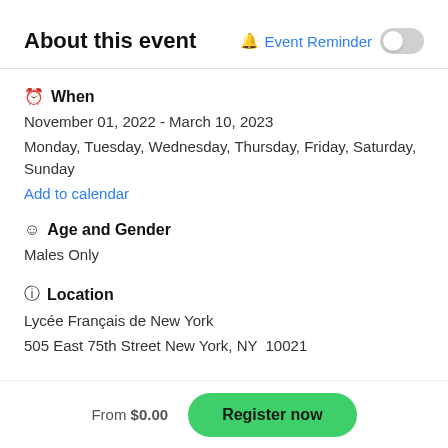About this event
Event Reminder (toggle off)
When
November 01, 2022 - March 10, 2023
Monday, Tuesday, Wednesday, Thursday, Friday, Saturday, Sunday
Add to calendar
Age and Gender
Males Only
Location
Lycée Français de New York
505 East 75th Street New York, NY  10021
From $0.00
Register now